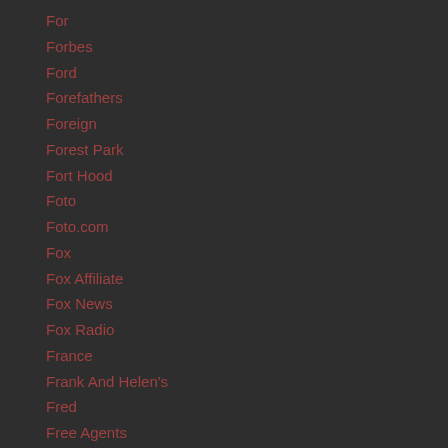For
Forbes
Ford
Forefathers
Foreign
Forest Park
Fort Hood
Foto
Foto.com
Fox
Fox Affiliate
Fox News
Fox Radio
France
Frank And Helen's
Fred
Free Agents
Freedom Of Consequences
Free Speech Zone
French Election